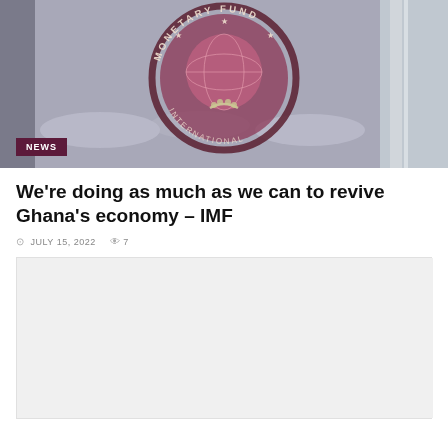[Figure (photo): Photo of the International Monetary Fund (IMF) logo/seal on glass, showing a circular emblem with globe, olive branch, and text 'MONETARY FUND' around it. A dark maroon NEWS badge is overlaid at the bottom left.]
We're doing as much as we can to revive Ghana's economy – IMF
JULY 15, 2022   7
[Figure (photo): A second image placeholder, light grey, partially visible at the bottom of the page.]